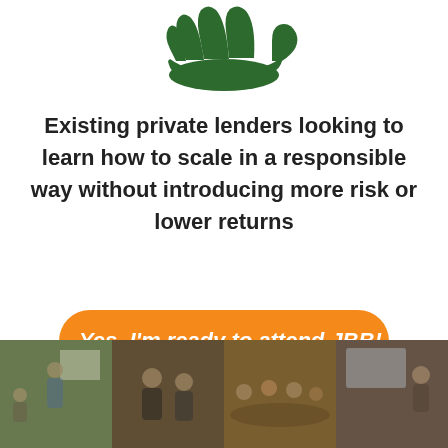[Figure (illustration): Dark green hand icon with palm facing up and fingers curved upward, like an open/offering hand]
Existing private lenders looking to learn how to scale in a responsible way without introducing more risk or lower returns
[Figure (other): Orange rounded rectangle CTA button with italic bold white text: Yes, I'm ready to attend JBB!]
[Figure (photo): A horizontal strip of four semi-transparent event/conference photos showing people at a business event]